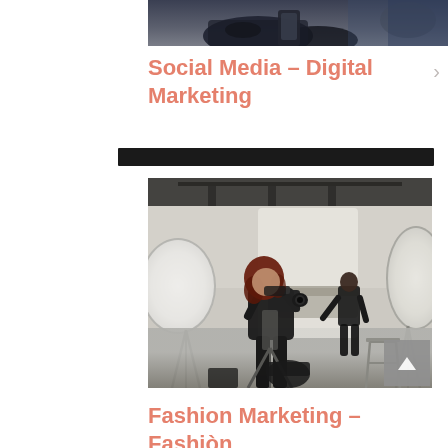[Figure (photo): Partial cropped photo of hands holding a phone, dark background]
Social Media – Digital Marketing
[Figure (photo): Photography studio scene with a female photographer holding a camera on a tripod, and another person bent over a surface in the background, surrounded by studio lighting equipment and softboxes]
Fashion Marketing –Fashionó